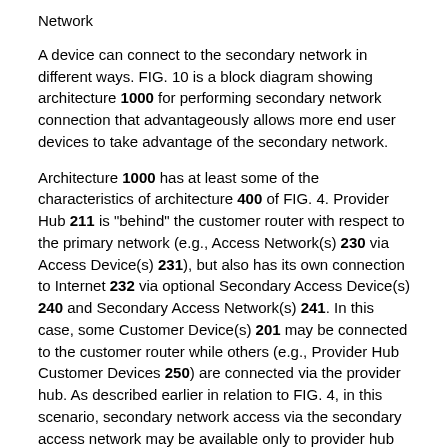Network
A device can connect to the secondary network in different ways. FIG. 10 is a block diagram showing architecture 1000 for performing secondary network connection that advantageously allows more end user devices to take advantage of the secondary network.
Architecture 1000 has at least some of the characteristics of architecture 400 of FIG. 4. Provider Hub 211 is "behind" the customer router with respect to the primary network (e.g., Access Network(s) 230 via Access Device(s) 231), but also has its own connection to Internet 232 via optional Secondary Access Device(s) 240 and Secondary Access Network(s) 241. In this case, some Customer Device(s) 201 may be connected to the customer router while others (e.g., Provider Hub Customer Devices 250) are connected via the provider hub. As described earlier in relation to FIG. 4, in this scenario, secondary network access via the secondary access network may be available only to provider hub customer devices, and not via customer devices.
In some embodiments, Provider Hub 211 is disposed